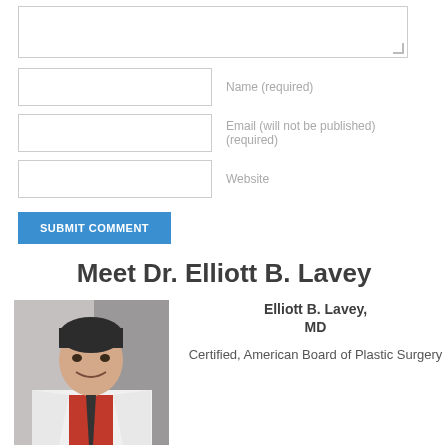[Figure (screenshot): Text area input box (form field for comment entry)]
Name (required)
Email (will not be published) (required)
Website
SUBMIT COMMENT
Meet Dr. Elliott B. Lavey
[Figure (photo): Portrait photo of Dr. Elliott B. Lavey, a man in a white coat and red shirt, smiling]
Elliott B. Lavey, MD

Certified, American Board of Plastic Surgery